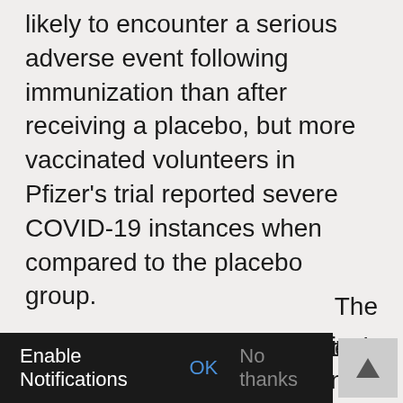likely to encounter a serious adverse event following immunization than after receiving a placebo, but more vaccinated volunteers in Pfizer's trial reported severe COVID-19 instances when compared to the placebo group.
"The phrase 'safe and effective' has lost its meaning and can no longer be believed." It has been hijacked by commercial interests. "A better word would be 'buyer beware,'" Kim Witczak, a drug safety advocate who founded the
The Epoch Times in an email after reading the study data.
[Figure (screenshot): Enable Notifications dialog bar at the bottom of a webpage with OK and No thanks options, and a scroll-to-top arrow button on the right]